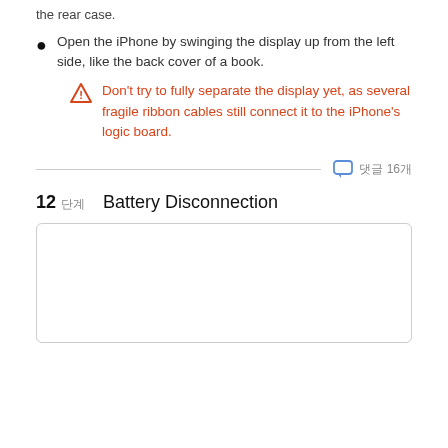the rear case.
Open the iPhone by swinging the display up from the left side, like the back cover of a book.
Don't try to fully separate the display yet, as several fragile ribbon cables still connect it to the iPhone's logic board.
댓글 16개
12 단계  Battery Disconnection
[Figure (photo): Image area for Battery Disconnection step]